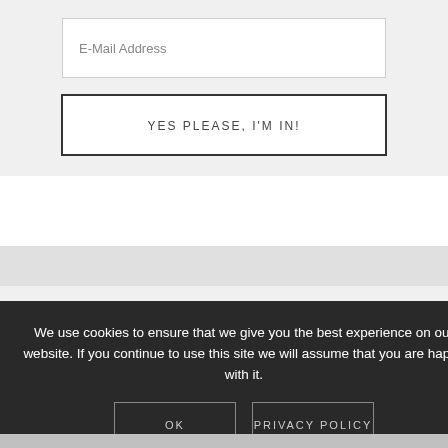E-Mail Address
YES PLEASE, I'M IN!
We use cookies to ensure that we give you the best experience on our website. If you continue to use this site we will assume that you are happy with it.
OK
PRIVACY POLICY